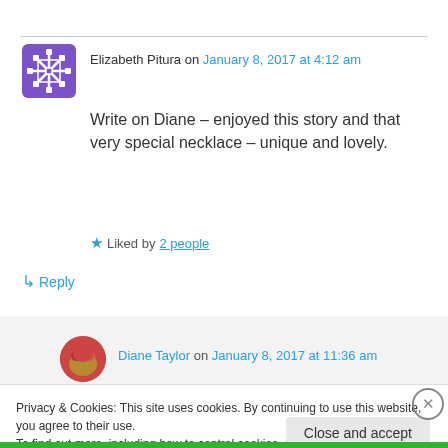Elizabeth Pitura on January 8, 2017 at 4:12 am
Write on Diane – enjoyed this story and that very special necklace – unique and lovely.
★ Liked by 2 people
↳ Reply
Diane Taylor on January 8, 2017 at 11:36 am
Privacy & Cookies: This site uses cookies. By continuing to use this website, you agree to their use.
To find out more, including how to control cookies, see here: Cookie Policy
Close and accept